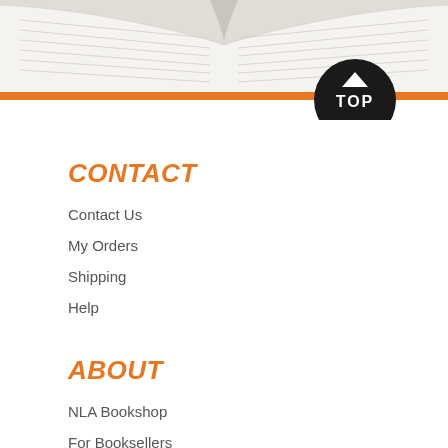[Figure (photo): Open book with orange spine and cover, photographed from above showing spread pages, with a black circular TOP button overlay in the upper right]
CONTACT
Contact Us
My Orders
Shipping
Help
ABOUT
NLA Bookshop
For Booksellers
Friends Discount
NLA Publishing P…